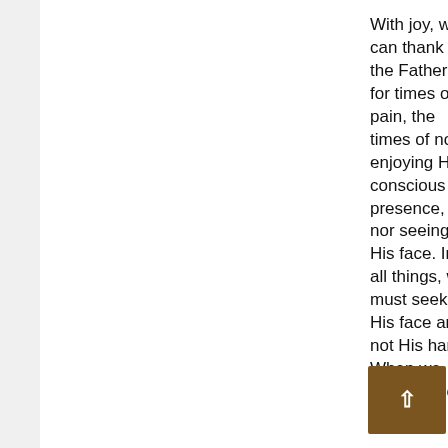With joy, we can thank the Father for times of pain, the times of not enjoying His conscious presence, nor seeing His face. In all things, we must seek His face and not His hand. When we ta[ke Him f]or gr[anted, and]